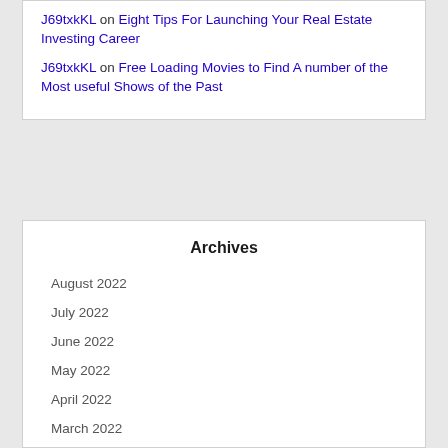J69txkKL on Eight Tips For Launching Your Real Estate Investing Career
J69txkKL on Free Loading Movies to Find A number of the Most useful Shows of the Past
Archives
August 2022
July 2022
June 2022
May 2022
April 2022
March 2022
February 2022
January 2022